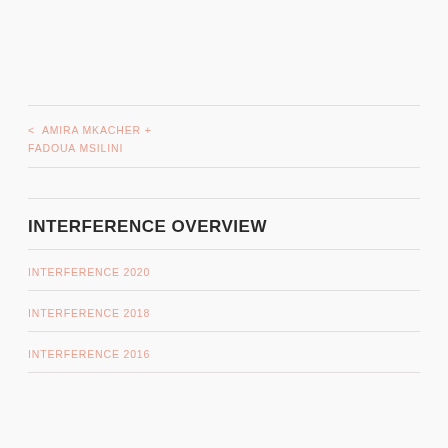< AMIRA MKACHER + FADOUA MSILINI
INTERFERENCE OVERVIEW
INTERFERENCE 2020
INTERFERENCE 2018
INTERFERENCE 2016